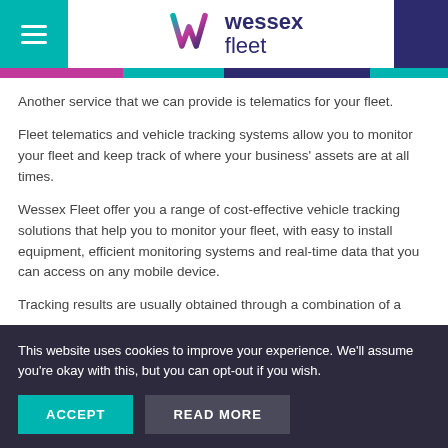wessex fleet
Another service that we can provide is telematics for your fleet.
Fleet telematics and vehicle tracking systems allow you to monitor your fleet and keep track of where your business' assets are at all times.
Wessex Fleet offer you a range of cost-effective vehicle tracking solutions that help you to monitor your fleet, with easy to install equipment, efficient monitoring systems and real-time data that you can access on any mobile device.
Tracking results are usually obtained through a combination of a
This website uses cookies to improve your experience. We'll assume you're okay with this, but you can opt-out if you wish.
ACCEPT   READ MORE